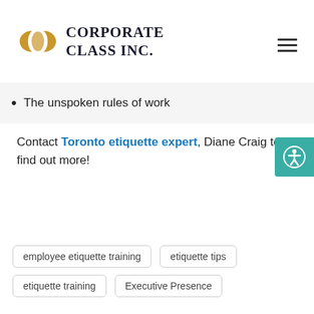[Figure (logo): Corporate Class Inc. logo with golden interlocking C shapes and bold serif text]
The unspoken rules of work
Contact Toronto etiquette expert, Diane Craig to find out more!
employee etiquette training
etiquette tips
etiquette training
Executive Presence